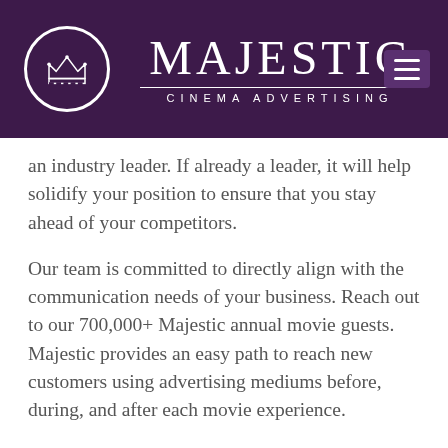[Figure (logo): Majestic Cinema Advertising logo with crown in a circle and text MAJESTIC CINEMA ADVERTISING on a dark purple background with hamburger menu icon]
an industry leader. If already a leader, it will help solidify your position to ensure that you stay ahead of your competitors.
Our team is committed to directly align with the communication needs of your business. Reach out to our 700,000+ Majestic annual movie guests. Majestic provides an easy path to reach new customers using advertising mediums before, during, and after each movie experience.
Schedule a free consultation to further explain the advantages and benefits of this powerful